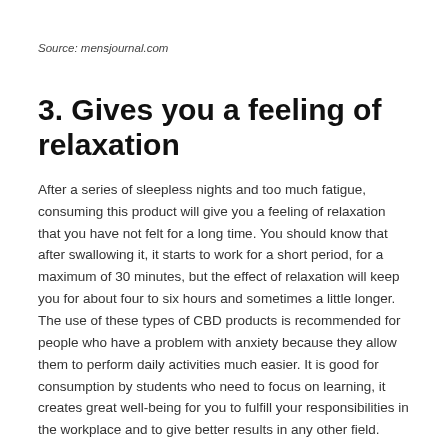Source: mensjournal.com
3. Gives you a feeling of relaxation
After a series of sleepless nights and too much fatigue, consuming this product will give you a feeling of relaxation that you have not felt for a long time. You should know that after swallowing it, it starts to work for a short period, for a maximum of 30 minutes, but the effect of relaxation will keep you for about four to six hours and sometimes a little longer. The use of these types of CBD products is recommended for people who have a problem with anxiety because they allow them to perform daily activities much easier. It is good for consumption by students who need to focus on learning, it creates great well-being for you to fulfill your responsibilities in the workplace and to give better results in any other field.